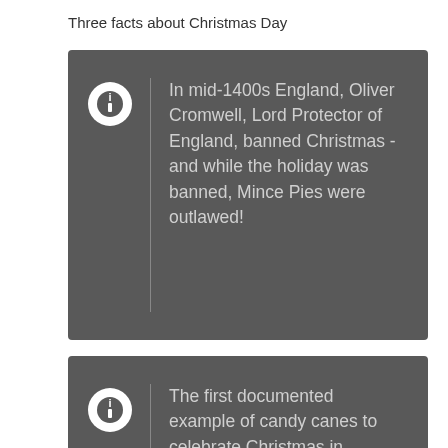Three facts about Christmas Day
In mid-1400s England, Oliver Cromwell, Lord Protector of England, banned Christmas - and while the holiday was banned, Mince Pies were outlawed!
The first documented example of candy canes to celebrate Christmas in America occurred in 1847. August Imgard, a